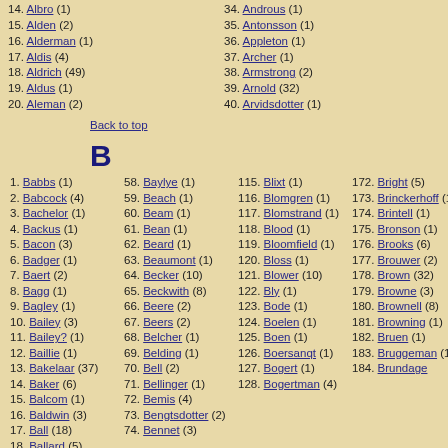14. Albro (1)
15. Alden (2)
16. Alderman (1)
17. Aldis (4)
18. Aldrich (49)
19. Aldus (1)
20. Aleman (2)
34. Androus (1)
35. Antonsson (1)
36. Appleton (1)
37. Archer (1)
38. Armstrong (2)
39. Arnold (32)
40. Arvidsdotter (1)
Back to top
B
1. Babbs (1)
2. Babcock (4)
3. Bachelor (1)
4. Backus (1)
5. Bacon (3)
6. Badger (1)
7. Baert (2)
8. Bagg (1)
9. Bagley (1)
10. Bailey (3)
11. Bailey? (1)
12. Baillie (1)
13. Bakelaar (37)
14. Baker (6)
15. Balcom (1)
16. Baldwin (3)
17. Ball (18)
18. Ballard (5)
58. Baylye (1)
59. Beach (1)
60. Beam (1)
61. Bean (1)
62. Beard (1)
63. Beaumont (1)
64. Becker (10)
65. Beckwith (8)
66. Beere (2)
67. Beers (2)
68. Belcher (1)
69. Belding (1)
70. Bell (2)
71. Bellinger (1)
72. Bemis (4)
73. Bengtsdotter (2)
74. Bennet (3)
115. Blixt (1)
116. Blomgren (1)
117. Blomstrand (1)
118. Blood (1)
119. Bloomfield (1)
120. Bloss (1)
121. Blower (10)
122. Bly (1)
123. Bode (1)
124. Boelen (1)
125. Boen (1)
126. Boersanqt (1)
127. Bogert (1)
128. Bogertman (4)
172. Bright (5)
173. Brinckerhoff (1)
174. Brintell (1)
175. Bronson (1)
176. Brooks (6)
177. Brouwer (2)
178. Brown (32)
179. Browne (3)
180. Brownell (8)
181. Browning (1)
182. Bruen (1)
183. Bruggeman (1)
184. Brundage